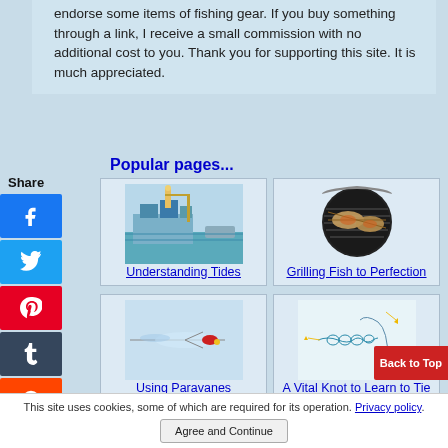endorse some items of fishing gear. If you buy something through a link, I receive a small commission with no additional cost to you.  Thank you for supporting this site.  It is much appreciated.
Popular pages...
[Figure (illustration): Illustration of tides with a harbor/dock scene]
Understanding Tides
[Figure (photo): Photo of fish grilling on a circular grill/BBQ]
Grilling Fish to Perfection
[Figure (illustration): Illustration of paravane fishing rig]
Using Paravanes
[Figure (illustration): Illustration of a fishing knot on a hook]
A Vital Knot to Learn to Tie
This site uses cookies, some of which are required for its operation. Privacy policy.